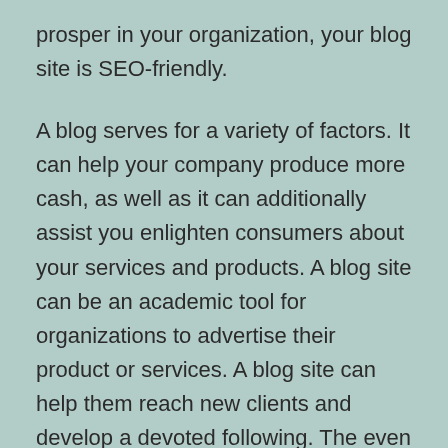prosper in your organization, your blog site is SEO-friendly.
A blog serves for a variety of factors. It can help your company produce more cash, as well as it can additionally assist you enlighten consumers about your services and products. A blog site can be an academic tool for organizations to advertise their product or services. A blog site can help them reach new clients and develop a devoted following. The even more website traffic your blog has, the much more you can make. There are many ways to make your blogs more SEO-friendly.